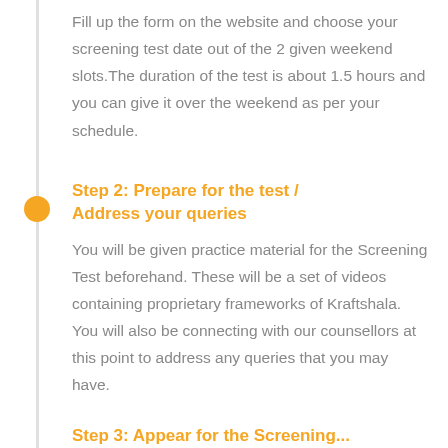Fill up the form on the website and choose your screening test date out of the 2 given weekend slots.The duration of the test is about 1.5 hours and you can give it over the weekend as per your schedule.
Step 2: Prepare for the test / Address your queries
You will be given practice material for the Screening Test beforehand. These will be a set of videos containing proprietary frameworks of Kraftshala. You will also be connecting with our counsellors at this point to address any queries that you may have.
Step 3: Appear for the Screening...